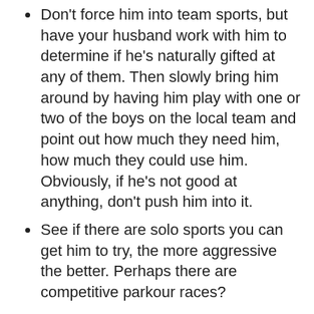Don't force him into team sports, but have your husband work with him to determine if he's naturally gifted at any of them. Then slowly bring him around by having him play with one or two of the boys on the local team and point out how much they need him, how much they could use him. Obviously, if he's not good at anything, don't push him into it.
See if there are solo sports you can get him to try, the more aggressive the better. Perhaps there are competitive parkour races?
Have his father teach him how to fight. If his father doesn't really know, perhaps some father-son MMA classes would be a good idea. And make sure that you let him know that it is okay for him to fight and defend himself, that no matter what the school says, you'll back him up and he won't be in any trouble as long as he wasn't being a bully.
Every now and then, let him pick and argument,